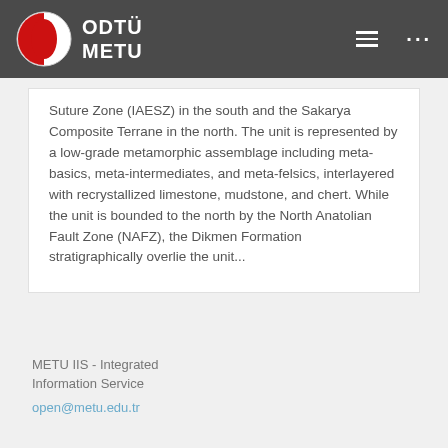ODTÜ METU
Suture Zone (IAESZ) in the south and the Sakarya Composite Terrane in the north. The unit is represented by a low-grade metamorphic assemblage including meta-basics, meta-intermediates, and meta-felsics, interlayered with recrystallized limestone, mudstone, and chert. While the unit is bounded to the north by the North Anatolian Fault Zone (NAFZ), the Dikmen Formation stratigraphically overlie the unit...
METU IIS - Integrated Information Service
open@metu.edu.tr